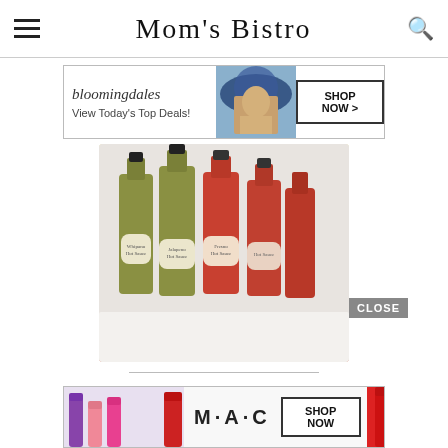Mom's Bistro
[Figure (screenshot): Bloomingdales advertisement banner: 'bloomingdales View Today's Top Deals!' with woman in hat and 'SHOP NOW >' button]
[Figure (photo): Six bottles of homemade hot sauce on white fur background — two types: green (Jalapeno Hot Sauce, Whipano Hot Sauce) and red (Fresno Hot Sauce), with handwritten labels]
[Figure (screenshot): MAC cosmetics advertisement banner with colorful lipsticks and 'SHOP NOW' button, with CLOSE button above]